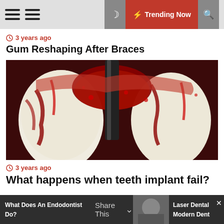Trending Now
3 years ago
Gum Reshaping After Braces
[Figure (photo): Close-up clinical photo of a dental implant procedure showing teeth with blood and a dark metal implant tool inserted between teeth]
3 years ago
What happens when teeth implant fail?
What Does An Endodontist Do? | Share This | Laser Dental Modern Dent